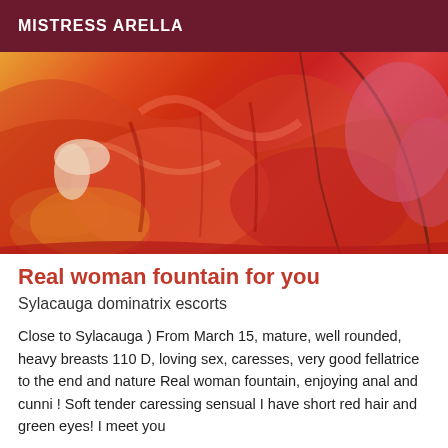MISTRESS ARELLA
[Figure (photo): Close-up photo of a person wearing flowing red and orange layered skirts/fabric, lying or seated on a surface, with one pale hand visible.]
Real woman fountain for you
Sylacauga dominatrix escorts
Close to Sylacauga ) From March 15, mature, well rounded, heavy breasts 110 D, loving sex, caresses, very good fellatrice to the end and nature Real woman fountain, enjoying anal and cunni ! Soft tender caressing sensual I have short red hair and green eyes! I meet you